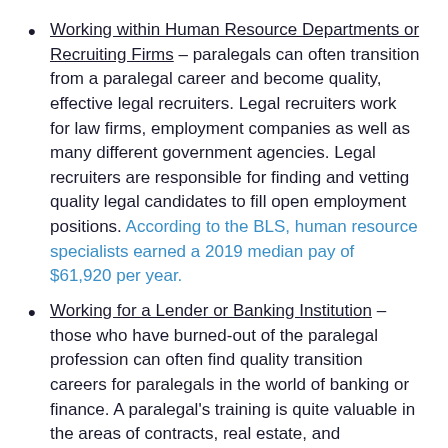Working within Human Resource Departments or Recruiting Firms – paralegals can often transition from a paralegal career and become quality, effective legal recruiters. Legal recruiters work for law firms, employment companies as well as many different government agencies. Legal recruiters are responsible for finding and vetting quality legal candidates to fill open employment positions. According to the BLS, human resource specialists earned a 2019 median pay of $61,920 per year.
Working for a Lender or Banking Institution – those who have burned-out of the paralegal profession can often find quality transition careers for paralegals in the world of banking or finance. A paralegal's training is quite valuable in the areas of contracts, real estate, and investments for banks across the board.